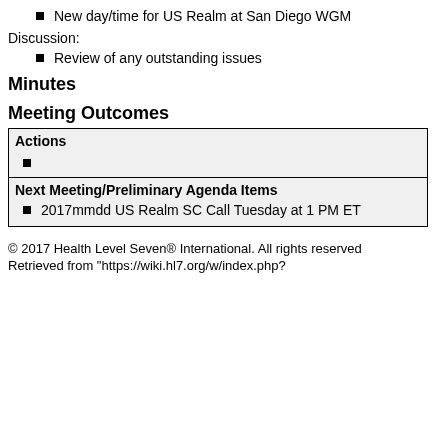New day/time for US Realm at San Diego WGM
Discussion:
Review of any outstanding issues
Minutes
Meeting Outcomes
| Actions | Next Meeting/Preliminary Agenda Items |
| --- | --- |
| (bullet, empty) | 2017mmdd US Realm SC Call Tuesday at 1 PM ET |
© 2017 Health Level Seven® International. All rights reserved
Retrieved from "https://wiki.hl7.org/w/index.php?